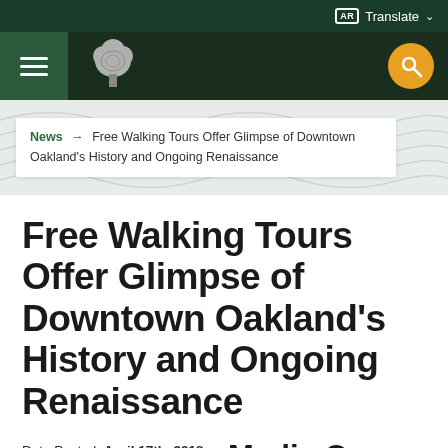AR Translate
[Figure (logo): Oakland city tree logo in white on dark navigation bar with hamburger menu and yellow search button]
News → Free Walking Tours Offer Glimpse of Downtown Oakland's History and Ongoing Renaissance
Free Walking Tours Offer Glimpse of Downtown Oakland's History and Ongoing Renaissance
Date Posted: April 17th, 2018 @ 12:00 AM
Last Updated: December 6th, 2019 @ 4:09 PM
Media Con
Harry Hamilton